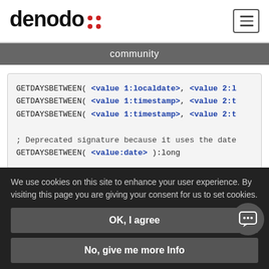denodo community
[Figure (screenshot): Code block showing GETDAYSBETWEEN function signatures with localdate, timestamp, and date parameter types, including a deprecated signature note]
value 1. Required.
We use cookies on this site to enhance your user experience. By visiting this page you are giving your consent for us to set cookies.
OK, I agree
No, give me more Info